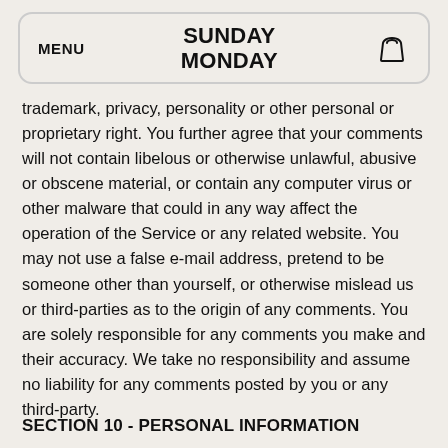MENU  SUNDAY MONDAY  [bag icon]
trademark, privacy, personality or other personal or proprietary right. You further agree that your comments will not contain libelous or otherwise unlawful, abusive or obscene material, or contain any computer virus or other malware that could in any way affect the operation of the Service or any related website. You may not use a false e-mail address, pretend to be someone other than yourself, or otherwise mislead us or third-parties as to the origin of any comments. You are solely responsible for any comments you make and their accuracy. We take no responsibility and assume no liability for any comments posted by you or any third-party.
SECTION 10 - PERSONAL INFORMATION